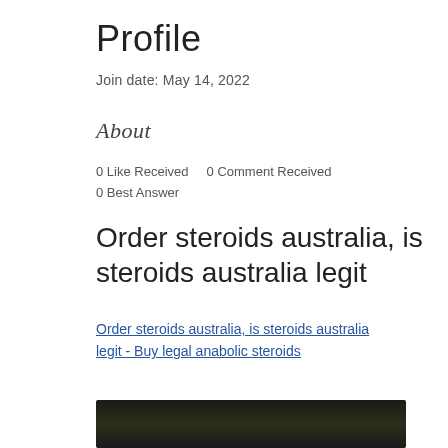Profile
Join date: May 14, 2022
About
0 Like Received   0 Comment Received
0 Best Answer
Order steroids australia, is steroids australia legit
Order steroids australia, is steroids australia legit - Buy legal anabolic steroids
[Figure (photo): Blurred dark image, partially visible at bottom of page]